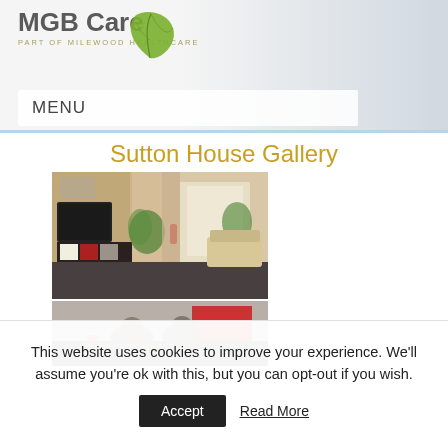[Figure (logo): MGB Care logo with green leaf and text 'PART OF MILEWOOD HEALTHCARE']
MENU
Sutton House Gallery
[Figure (photo): Interior room photo showing living area with TV, plants, sofa, and curtained window]
[Figure (photo): Lower photo showing people in a room with red artwork on wall]
This website uses cookies to improve your experience. We'll assume you're ok with this, but you can opt-out if you wish.
Accept
Read More